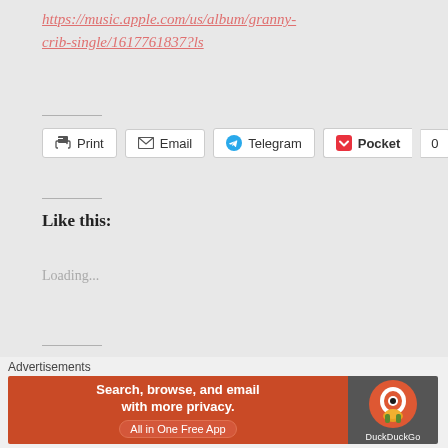https://music.apple.com/us/album/granny-crib-single/1617761837?ls
[Figure (other): Share buttons: Print, Email, Telegram, Pocket with count 0]
Like this:
Loading...
This entry was posted in Banned, Culture, Music and tagged hip-hop, independent, New Music Friday, New Releases, NMF, Underground
Advertisements
[Figure (other): DuckDuckGo advertisement banner: Search, browse, and email with more privacy. All in One Free App]